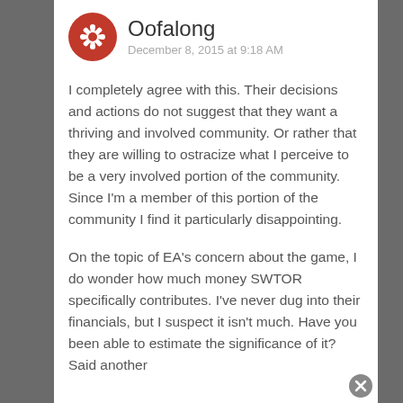Oofalong — December 8, 2015 at 9:18 AM
I completely agree with this. Their decisions and actions do not suggest that they want a thriving and involved community. Or rather that they are willing to ostracize what I perceive to be a very involved portion of the community. Since I'm a member of this portion of the community I find it particularly disappointing.
On the topic of EA's concern about the game, I do wonder how much money SWTOR specifically contributes. I've never dug into their financials, but I suspect it isn't much. Have you been able to estimate the significance of it? Said another